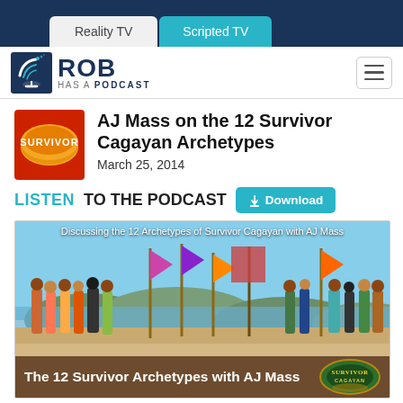Reality TV | Scripted TV
[Figure (logo): Rob Has a Podcast logo — dish icon and text]
AJ Mass on the 12 Survivor Cagayan Archetypes
March 25, 2014
LISTEN TO THE PODCAST  Download
[Figure (photo): Survivor Cagayan cast standing on a beach with tribal flags. Caption overlay: Discussing the 12 Archetypes of Survivor Cagayan with AJ Mass. Footer bar: The 12 Survivor Archetypes with AJ Mass, with Survivor Cagayan logo.]